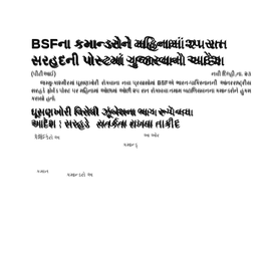BSFના કમાન્ડરોને મહિનામાં ૨૫ રાત સરહદની પોસ્ટમાં ગુજારવાનો આદેશ
(પીટીઆઈ)   નવી દિલ્હી,તા. ૨૩
જમ્મુ-કાશ્મીરમાં ઘૂસણખોરી રોકવાના નવા પ્રયાસોમાં BSFએ ભારત-પાકિસ્તાનની આંતરરાષ્ટ્રીય સરહદે ફોર્વડ પોસ્ટ પર મહિનામાં ઓછામાં ઓછી ૨૫ રાત રોકાવવા તમામ બટાલિયવનના કમાન્ડરોને હુકમ કરાયો હતો.
ઘૂસણખોરી વિરોધી ઝૂંબેશના ભાગ‌ રૂપે નવા આદેશ : સરહદે સતર્કતા રાખવા તાકીદ
કમાન્ડ‌ અને તેમના સેક્ટ‌ ઇન ચમ‌ | આ ઓર્ડ‌ ‌ ‌ ‌ ‌ ‌ ‌ ‌  ‌ ‌ ‌ ‌ ‌ ‌ ‌ ‌ ‌ ‌ ‌ ‌ ‌ ‌ ‌ ‌ ‌ ‌ ‌ ‌ ‌ ‌ ‌ ‌ ‌ ‌ ‌ ‌ ‌ ‌ ‌ ‌ ‌ ‌ ‌ ‌ ‌ ‌ ‌ ‌ ‌ ‌ ‌